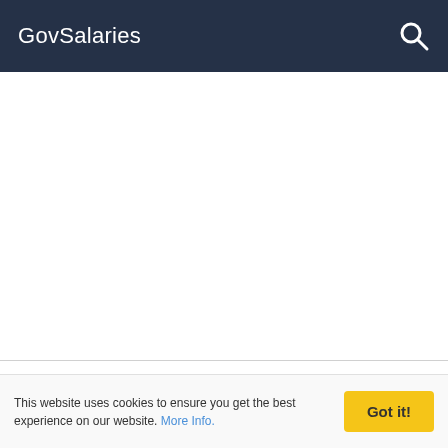GovSalaries
Lori Bissell E
This website uses cookies to ensure you get the best experience on our website. More Info.